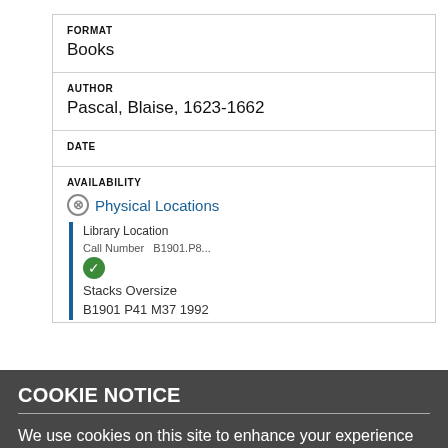| FORMAT | Books |
| AUTHOR | Pascal, Blaise, 1623-1662 |
| DATE |  |
| AVAILABILITY | Physical Locations |
COOKIE NOTICE
We use cookies on this site to enhance your experience and improve our library services. By continuing to browse without changing your browser settings to block or delete cookies, you agree to the storing of cookies and related technologies on your device. UW–Madison Privacy Notice
GOT IT!